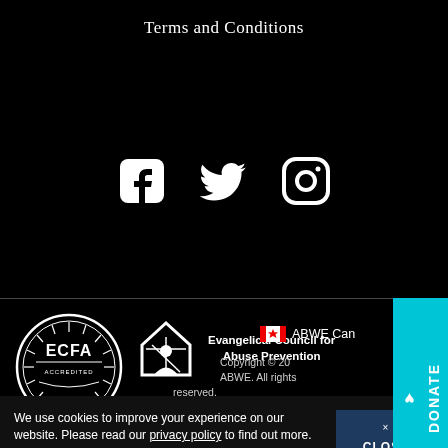Terms and Conditions
[Figure (illustration): Three social media icons: Facebook, Twitter, Instagram in white on black background]
[Figure (logo): ECFA Accredited circular seal logo in white]
[Figure (logo): Evangelical Council for Abuse Prevention logo with house/person icon and text]
ABWE Canada (with Canadian flag icon)
Copyright © 20[..] ABWE. All rights reserved.
We use cookies to improve your experience on our website. Please read our privacy policy to find out more.
× CLOSE